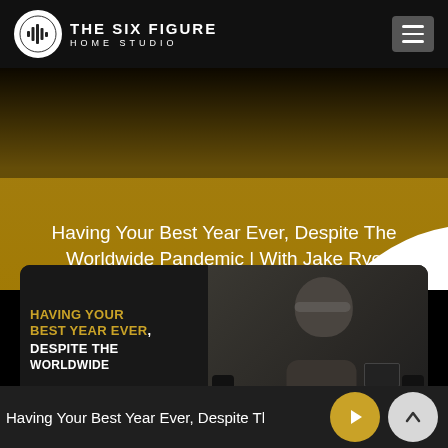THE SIX FIGURE HOME STUDIO
Having Your Best Year Ever, Despite The Worldwide Pandemic | With Jake Rye
[Figure (screenshot): Video thumbnail showing a bald man with glasses in a recording studio, with text overlay 'HAVING YOUR BEST YEAR EVER, DESPITE THE WORLDWIDE' in gold and white uppercase letters on a dark background]
Having Your Best Year Ever, Despite The Worldwi